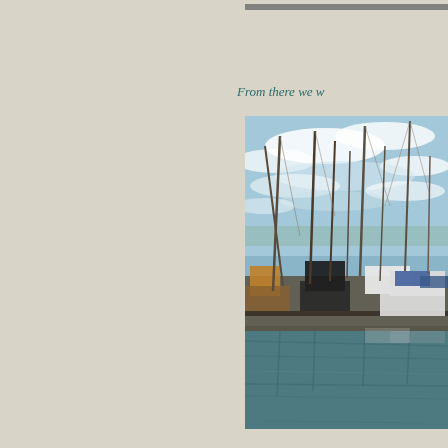[Figure (photo): Partial photo strip at top right, appears to be a cropped image]
From there we w
[Figure (photo): Photo of a marina with numerous sailboats and motorboats docked, tall masts visible against a partly cloudy blue sky, calm water in the foreground with reflections]